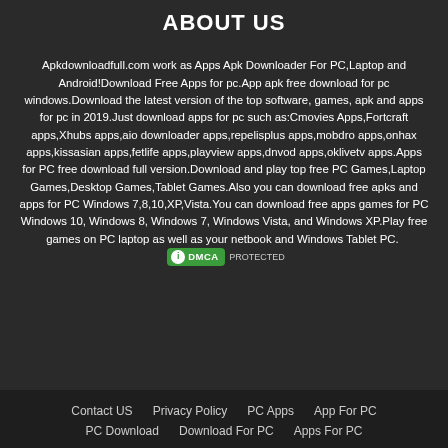ABOUT US
Apkdownloadfull.com work as Apps Apk Downloader For PC,Laptop and Android!Download Free Apps for pc.App apk free download for pc windows.Download the latest version of the top software, games, apk and apps for pc in 2019.Just download apps for pc such as:Cmovies Apps,Fortcraft apps,Xhubs apps,aio downloader apps,repelisplus apps,mobdro apps,onhax apps,kissasian apps,fetlife apps,playview apps,dnvod apps,oklivetv apps.Apps for PC free download full version.Download and play top free PC Games,Laptop Games,Desktop Games,Tablet Games.Also you can download free apks and apps for PC Windows 7,8,10,XP,Vista.You can download free apps games for PC Windows 10, Windows 8, Windows 7, Windows Vista, and Windows XP.Play free games on PC laptop as well as your netbook and Windows Tablet PC. [DMCA PROTECTED]
Contact US  Privacy Policy  PC Apps  App For PC  PC Download  Download For PC  Apps For PC